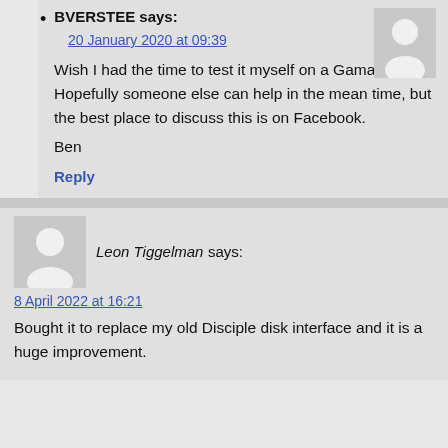BVERSTEE says:
20 January 2020 at 09:39
Wish I had the time to test it myself on a Gama. Hopefully someone else can help in the mean time, but the best place to discuss this is on Facebook.
Ben
Reply
Leon Tiggelman says:
8 April 2022 at 16:21
Bought it to replace my old Disciple disk interface and it is a huge improvement.